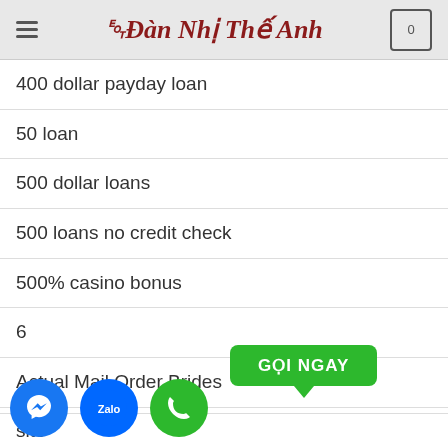Đàn Nhị Thế Anh
400 dollar payday loan
50 loan
500 dollar loans
500 loans no credit check
500% casino bonus
6
Actual Mail Order Brides
adult chat
adult dating sites
site